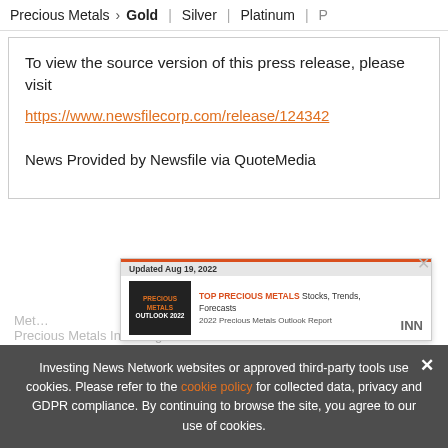Precious Metals > Gold | Silver | Platinum | ...
To view the source version of this press release, please visit https://www.newsfilecorp.com/release/124342
News Provided by Newsfile via QuoteMedia
[Figure (screenshot): Ad banner for Precious Metals Outlook 2022 report. Updated Aug 19, 2022. TOP PRECIOUS METALS Stocks, Trends, Forecasts. 2022 Precious Metals Outlook Report. INN logo.]
Investing News Network websites or approved third-party tools use cookies. Please refer to the cookie policy for collected data, privacy and GDPR compliance. By continuing to browse the site, you agree to our use of cookies.